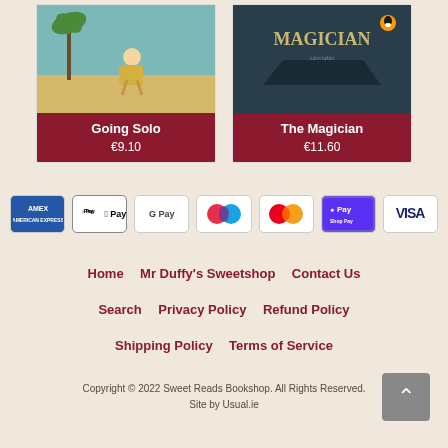[Figure (illustration): Book cover for Going Solo with illustrated character on teal background]
Going Solo
€9.10
[Figure (illustration): Book cover for The Magician with dark blue cover]
The Magician
€11.60
[Figure (infographic): Payment method icons: AMEX, Apple Pay, Google Pay, Maestro, Mastercard, Shop Pay, VISA]
Home
Mr Duffy's Sweetshop
Contact Us
Search
Privacy Policy
Refund Policy
Shipping Policy
Terms of Service
Copyright © 2022 Sweet Reads Bookshop. All Rights Reserved.
Site by Usual.ie